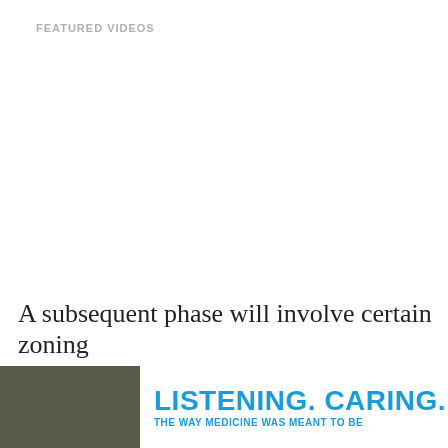FEATURED VIDEOS
A subsequent phase will involve certain zoning
[Figure (logo): St. John Medical Group advertisement banner with text: LISTENING. CARING. THE WAY MEDICINE WAS MEANT TO BE, and St. John Medical Group logo with wave graphic]